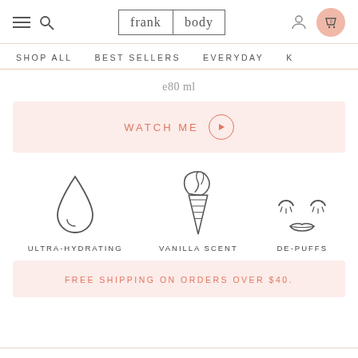frank body — navigation header with hamburger menu, search, logo, user icon, cart (0)
SHOP ALL   BEST SELLERS   EVERYDAY   K
e80 ml
WATCH ME ▶
[Figure (infographic): Three icons in a row: a water drop icon labeled ULTRA-HYDRATING, an ice cream cone icon labeled VANILLA SCENT, and a face/eyes icon labeled DE-PUFFS]
FREE SHIPPING ON ORDERS OVER $40.